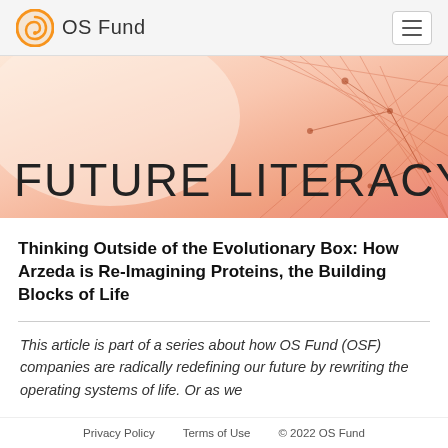OS Fund
[Figure (illustration): Hero banner with warm peach/salmon gradient background and abstract network/geometric pattern on the right side. FUTURE LITERACY text overlaid.]
FUTURE LITERACY
Thinking Outside of the Evolutionary Box: How Arzeda is Re-Imagining Proteins, the Building Blocks of Life
This article is part of a series about how OS Fund (OSF) companies are radically redefining our future by rewriting the operating systems of life. Or as we
Privacy Policy    Terms of Use    © 2022 OS Fund